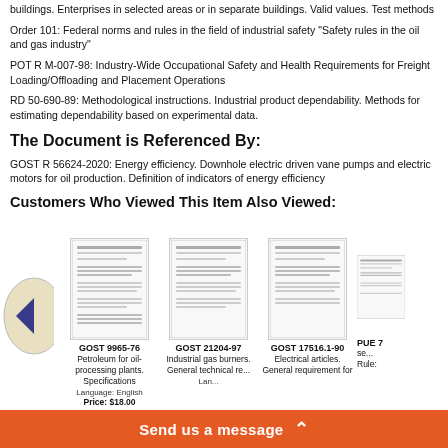buildings. Enterprises in selected areas or in separate buildings. Valid values. Test methods
Order 101: Federal norms and rules in the field of industrial safety "Safety rules in the oil and gas industry"
POT R M-007-98: Industry-Wide Occupational Safety and Health Requirements for Freight Loading/Offloading and Placement Operations
RD 50-690-89: Methodological instructions. Industrial product dependability. Methods for estimating dependability based on experimental data.
The Document is Referenced By:
GOST R 56624-2020: Energy efficiency. Downhole electric driven vane pumps and electric motors for oil production. Definition of indicators of energy efficiency
Customers Who Viewed This Item Also Viewed:
[Figure (screenshot): Navigation arrow button (left-pointing) for carousel]
[Figure (screenshot): Document thumbnail card: GOST 9965-76, Petroleum for oil-processing plants. Specifications. Language: English. Price: $18.00]
[Figure (screenshot): Document thumbnail card: GOST 21204-97, Industrial gas burners. General technical requirements.]
[Figure (screenshot): Document thumbnail card: GOST 17516.1-90, Electrical articles. General requirement for]
[Figure (screenshot): Document thumbnail card: PUE (partial, clipped)]
Send us a message